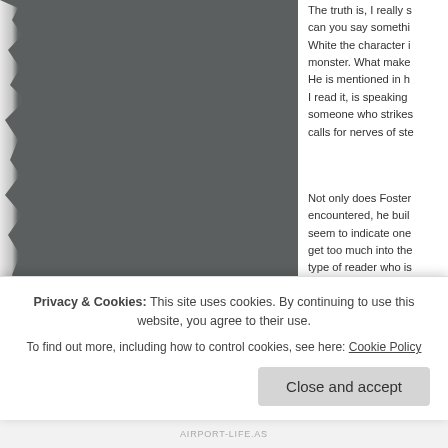[Figure (photo): Dark grey torn-edge photo or image panel on the left side of the page, approximately 300px wide and 340px tall.]
The truth is, I really s... can you say somethi... White the character i... monster. What make... He is mentioned in h... I read it, is speaking ... someone who strikes... calls for nerves of ste...
Not only does Foster... encountered, he buil... seem to indicate one... get too much into the... type of reader who is... and Foster does a gr...
Privacy & Cookies: This site uses cookies. By continuing to use this website, you agree to their use.
To find out more, including how to control cookies, see here: Cookie Policy
Close and accept
AIRPORT-LIFE.AS